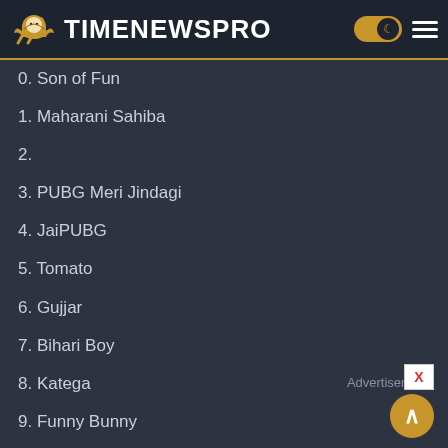TIMENEWSPRO
0. Son of Fun
1. Maharani Sahiba
2.
3. PUBG Meri Jindagi
4. JaiPUBG
5. Tomato
6. Gujjar
7. Bihari Boy
8. Katega
Advertisement
9. Funny Bunny
0. Gåbbår S☯ńgh
1. B☢hat ħard
2. auℝ banta